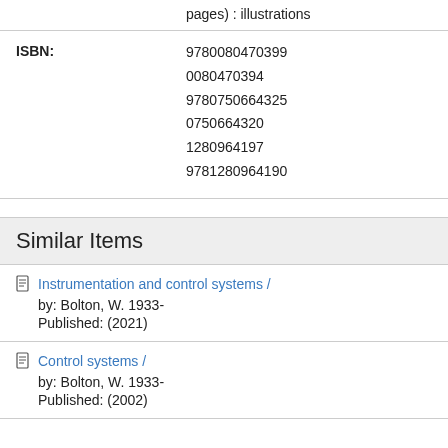pages) : illustrations
| ISBN: | 9780080470399
0080470394
9780750664325
0750664320
1280964197
9781280964190 |
Similar Items
Instrumentation and control systems /
by: Bolton, W. 1933-
Published: (2021)
Control systems /
by: Bolton, W. 1933-
Published: (2002)